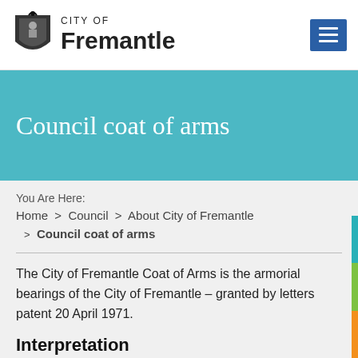CITY OF Fremantle
Council coat of arms
You Are Here:
Home > Council > About City of Fremantle > Council coat of arms
The City of Fremantle Coat of Arms is the armorial bearings of the City of Fremantle – granted by letters patent 20 April 1971.
Interpretation
Arms